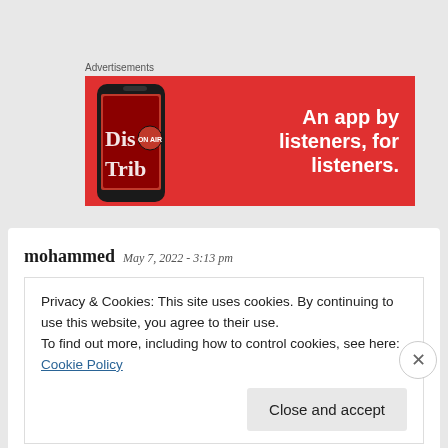Advertisements
[Figure (illustration): Red advertisement banner for a music app. Shows a smartphone displaying 'Dis Trib' text on screen, with bold white text reading 'An app by listeners, for listeners.' on the right side.]
mohammed May 7, 2022 - 3:13 pm
Privacy & Cookies: This site uses cookies. By continuing to use this website, you agree to their use.
To find out more, including how to control cookies, see here: Cookie Policy
Close and accept